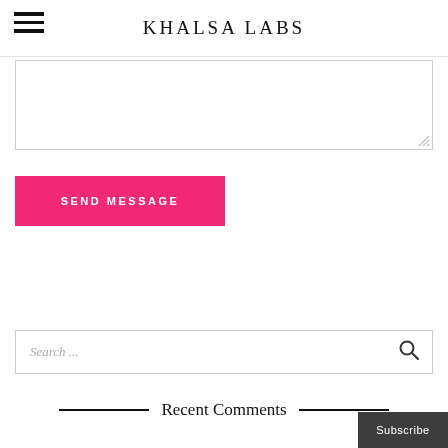KHALSA LABS
[Figure (screenshot): Text area input box with resize handle at bottom right]
[Figure (screenshot): Pink 'SEND MESSAGE' button]
[Figure (screenshot): Search input field with magnifying glass icon]
Recent Comments
[Figure (screenshot): Dark grey 'Subscribe' button at bottom right]